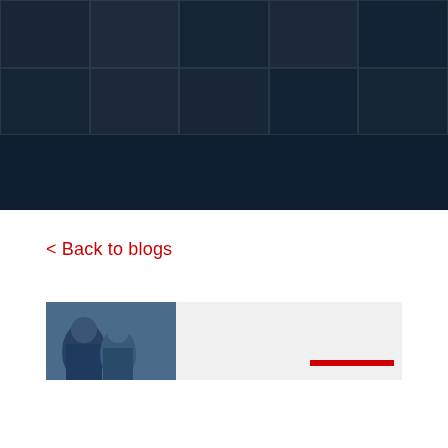[Figure (photo): Dark navy blue header area with faint grid/window pattern overlay, occupying the top portion of the page]
< Back to blogs
[Figure (photo): A blog card thumbnail showing two people (one in blue shirt, one in dark clothing) on a light grey background, with a red horizontal bar element on the right side]